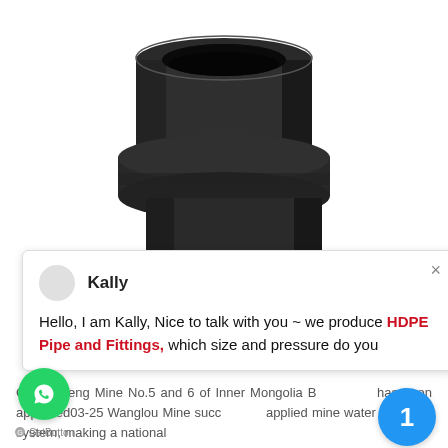[Figure (photo): Black HDPE pipe fitting / reducer coupling, viewed from above at an angle, showing the hollow interior and stepped exterior profile, against a white background.]
Kally
Hello, I am Kally, Nice to talk with you ~ we produce HDPE Pipe and Fittings, which size and pressure do you
Changcheng Mine No.5 and 6 of Inner Mongolia B has been approved03-25 Wanglou Mine succ applied mine water desalting system, making a national